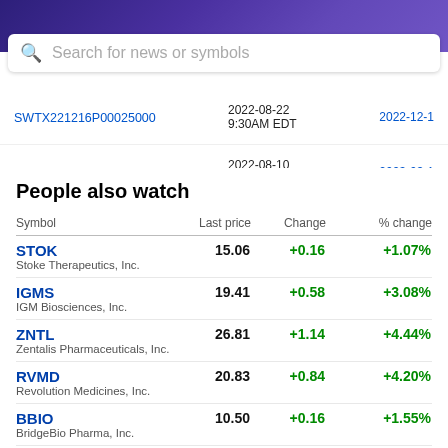Contract name   Last trade date   Expiry date
Search for news or symbols
| Contract name | Last trade date | Expiry date |
| --- | --- | --- |
| SWTX221216P00025000 | 2022-08-22 9:30AM EDT | 2022-12-1 |
| SWTX230317P00025000 | 2022-08-10 3:55PM EDT | 2023-03-1 |
People also watch
| Symbol | Last price | Change | % change |
| --- | --- | --- | --- |
| STOK
Stoke Therapeutics, Inc. | 15.06 | +0.16 | +1.07% |
| IGMS
IGM Biosciences, Inc. | 19.41 | +0.58 | +3.08% |
| ZNTL
Zentalis Pharmaceuticals, Inc. | 26.81 | +1.14 | +4.44% |
| RVMD
Revolution Medicines, Inc. | 20.83 | +0.84 | +4.20% |
| BBIO
BridgeBio Pharma, Inc. | 10.50 | +0.16 | +1.55% |